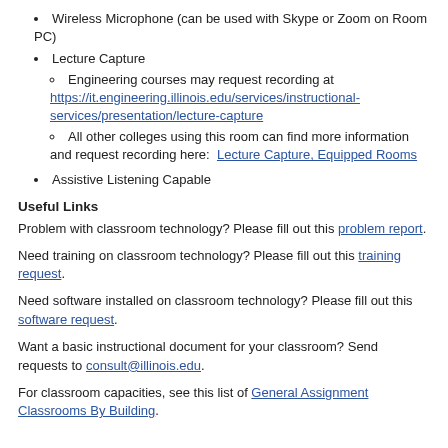Wireless Microphone (can be used with Skype or Zoom on Room PC)
Lecture Capture
Engineering courses may request recording at https://it.engineering.illinois.edu/services/instructional-services/presentation/lecture-capture
All other colleges using this room can find more information and request recording here: Lecture Capture, Equipped Rooms
Assistive Listening Capable
Useful Links
Problem with classroom technology? Please fill out this problem report.
Need training on classroom technology? Please fill out this training request.
Need software installed on classroom technology? Please fill out this software request.
Want a basic instructional document for your classroom? Send requests to consult@illinois.edu.
For classroom capacities, see this list of General Assignment Classrooms By Building.